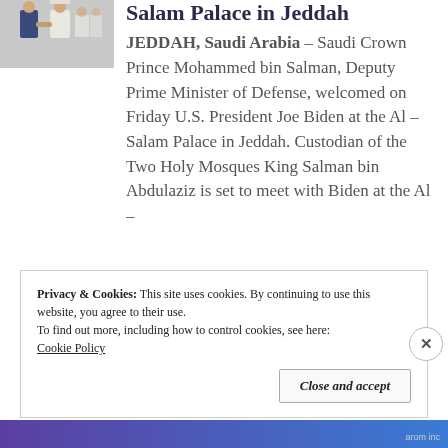[Figure (photo): Photo of two men shaking hands, one in a suit and one in traditional Saudi attire]
Salam Palace in Jeddah
JEDDAH, Saudi Arabia – Saudi Crown Prince Mohammed bin Salman, Deputy Prime Minister of Defense, welcomed on Friday U.S. President Joe Biden at the Al – Salam Palace in Jeddah. Custodian of the Two Holy Mosques King Salman bin Abdulaziz is set to meet with Biden at the Al –
Privacy & Cookies: This site uses cookies. By continuing to use this website, you agree to their use.
To find out more, including how to control cookies, see here:
Cookie Policy
Close and accept